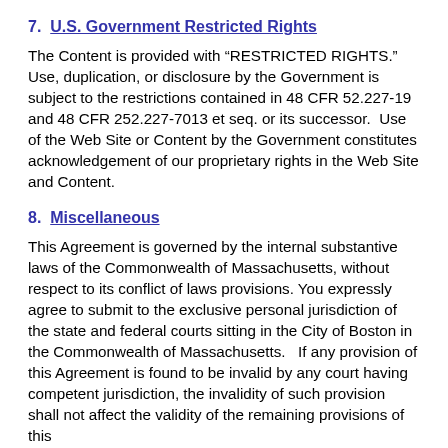7.  U.S. Government Restricted Rights
The Content is provided with “RESTRICTED RIGHTS.” Use, duplication, or disclosure by the Government is subject to the restrictions contained in 48 CFR 52.227-19 and 48 CFR 252.227-7013 et seq. or its successor.  Use of the Web Site or Content by the Government constitutes acknowledgement of our proprietary rights in the Web Site and Content.
8.  Miscellaneous
This Agreement is governed by the internal substantive laws of the Commonwealth of Massachusetts, without respect to its conflict of laws provisions. You expressly agree to submit to the exclusive personal jurisdiction of the state and federal courts sitting in the City of Boston in the Commonwealth of Massachusetts.   If any provision of this Agreement is found to be invalid by any court having competent jurisdiction, the invalidity of such provision shall not affect the validity of the remaining provisions of this